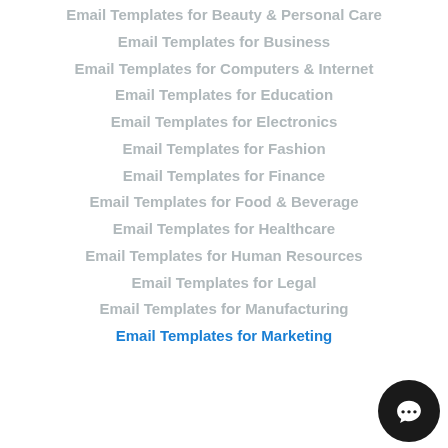Email Templates for Beauty & Personal Care
Email Templates for Business
Email Templates for Computers & Internet
Email Templates for Education
Email Templates for Electronics
Email Templates for Fashion
Email Templates for Finance
Email Templates for Food & Beverage
Email Templates for Healthcare
Email Templates for Human Resources
Email Templates for Legal
Email Templates for Manufacturing
Email Templates for Marketing